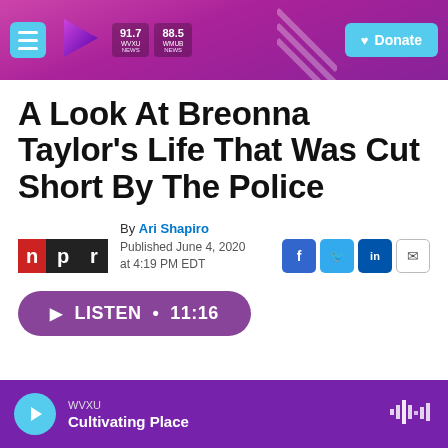91.7 WVXU NEWS | 88.5 WHUR NEWS | Donate
A Look At Breonna Taylor's Life That Was Cut Short By The Police
By Ari Shapiro
Published June 4, 2020 at 4:19 PM EDT
LISTEN • 11:16
WVXU
Cultivating Place